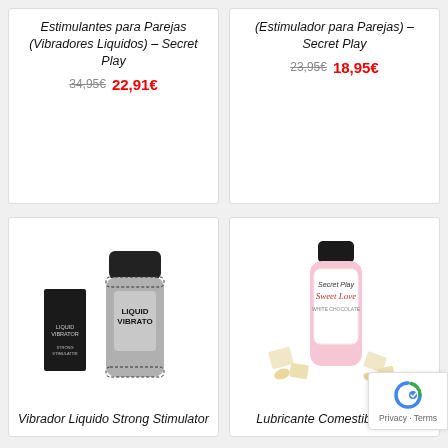Estimulantes para Parejas (Vibradores Liquidos) – Secret Play
34,95€  22,91€
(Estimulador para Parejas) – Secret Play
23,95€  18,95€
[Figure (photo): A silver liquid vibrator bottle product alongside its black box packaging labeled LIQUID VIBRATOR STRONG STIMULATOR]
Vibrador Liquido Strong Stimulator
[Figure (photo): A Sweet Love flavored lubricant bottle with white chocolate pieces around it]
Lubricante Comestible Sexo